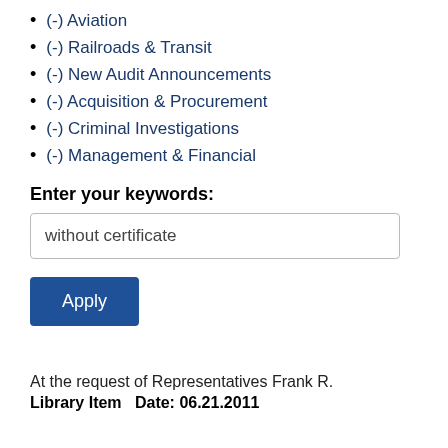(-) Aviation
(-) Railroads & Transit
(-) New Audit Announcements
(-) Acquisition & Procurement
(-) Criminal Investigations
(-) Management & Financial
Enter your keywords:
without certificate
Apply
At the request of Representatives Frank R.
Library Item   Date: 06.21.2011